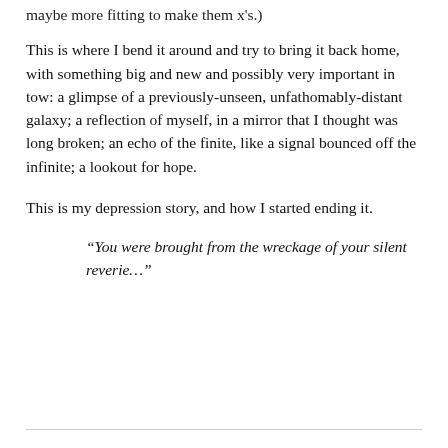maybe more fitting to make them x's.)
This is where I bend it around and try to bring it back home, with something big and new and possibly very important in tow: a glimpse of a previously-unseen, unfathomably-distant galaxy; a reflection of myself, in a mirror that I thought was long broken; an echo of the finite, like a signal bounced off the infinite; a lookout for hope.
This is my depression story, and how I started ending it.
“You were brought from the wreckage of your silent reverie…”